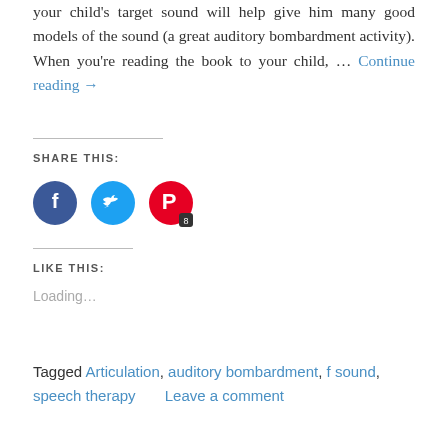your child's target sound will help give him many good models of the sound (a great auditory bombardment activity). When you're reading the book to your child, … Continue reading →
SHARE THIS:
[Figure (illustration): Three social media share buttons: Facebook (blue circle with f icon), Twitter (blue circle with bird icon), Pinterest (red circle with P icon and badge showing 8)]
LIKE THIS:
Loading...
Tagged Articulation, auditory bombardment, f sound, speech therapy     Leave a comment